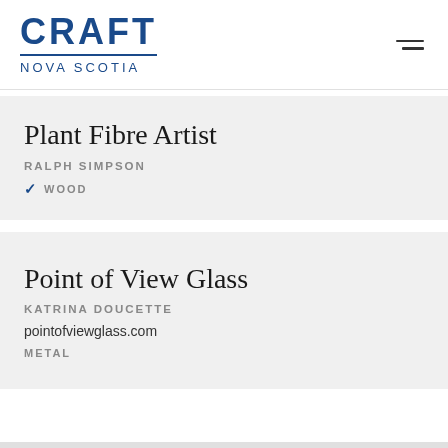CRAFT NOVA SCOTIA
Plant Fibre Artist
RALPH SIMPSON
✓ WOOD
Point of View Glass
KATRINA DOUCETTE
pointofviewglass.com
METAL